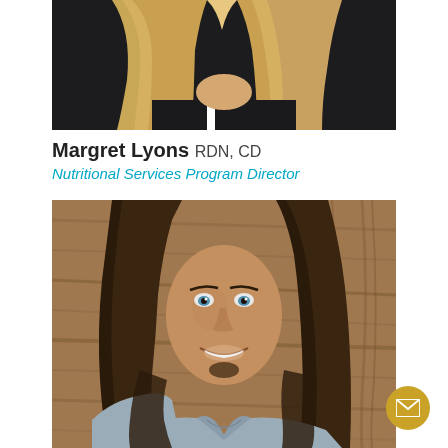[Figure (photo): Cropped photo showing lower portion of a person with long blonde hair wearing a black outfit, photographed against a dark background.]
Margret Lyons RDN, CD
Nutritional Services Program Director
[Figure (photo): Professional headshot of a man with long dark brown hair, blue eyes, smiling, wearing a light blue shirt, photographed against a wooden background.]